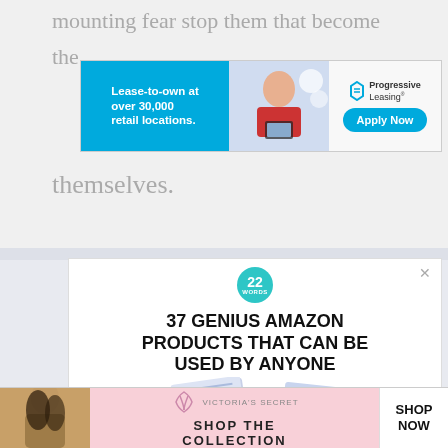mounting fear stop them that become
[Figure (screenshot): Progressive Leasing ad banner: blue left panel with text 'Lease-to-own at over 30,000 retail locations.', center panel with child using tablet, right panel with Progressive Leasing logo and 'Apply Now' button]
themselves.
[Figure (screenshot): 22 Words ad: teal circular badge with '22 WORDS', bold headline '37 GENIUS AMAZON PRODUCTS THAT CAN BE USED BY ANYONE', packaged product images below, CLOSE button]
[Figure (screenshot): Victoria's Secret ad banner: woman photo on left, pink center with VS logo and 'SHOP THE COLLECTION', white 'SHOP NOW' button on right]